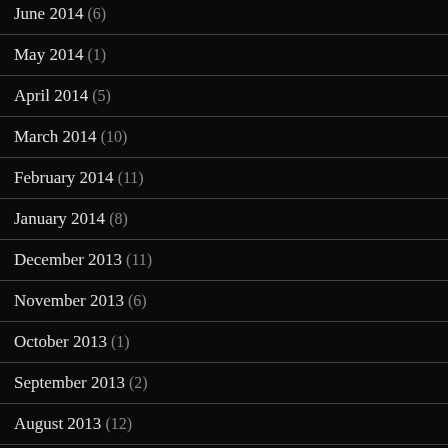June 2014 (6)
May 2014 (1)
April 2014 (5)
March 2014 (10)
February 2014 (11)
January 2014 (8)
December 2013 (11)
November 2013 (6)
October 2013 (1)
September 2013 (2)
August 2013 (12)
July 2013 (11)
June 2013 (5)